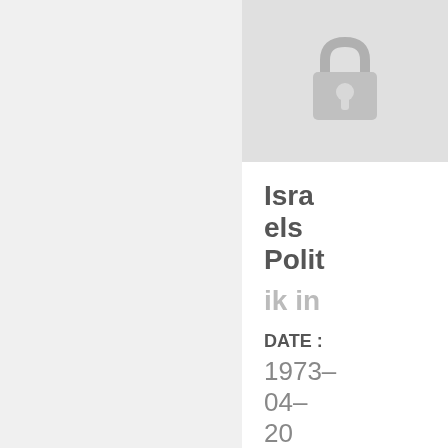[Figure (illustration): A locked padlock icon in gray on a light gray background, indicating restricted/classified content]
Israels Politik in
DATE : 1973-04-20
[Figure (illustration): Partial gray block at bottom, appears to be another locked/restricted image placeholder]